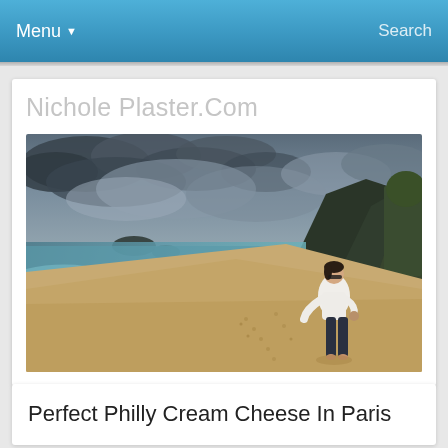Menu ▼    Search
Nichole Plaster.Com
[Figure (photo): A woman in a white top and dark jeans standing on a sandy beach, with mountains/cliffs in the background, ocean waves to the left, and dramatic cloudy sky above. Footprints visible in the sand.]
Perfect Philly Cream Cheese In Paris